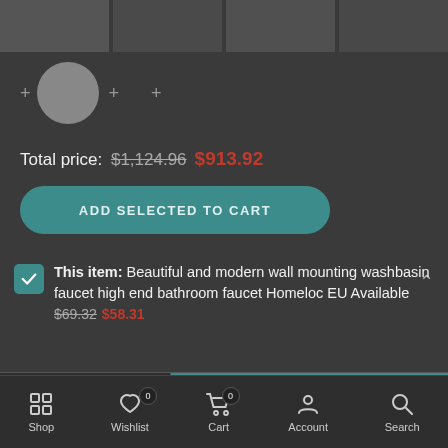[Figure (screenshot): Row of product thumbnail images for bathroom faucet product bundle]
[Figure (photo): Bundle items row with plus signs and basin image]
Total price: $1,124.96 $913.92
ADD SELECTED TO CART
This item: Beautiful and modern wall mounting washbasin faucet high end bathroom faucet Homeloc EU Available $69.32 $58.31
- 1 + ADD TO CART
Shop Wishlist Cart Account Search